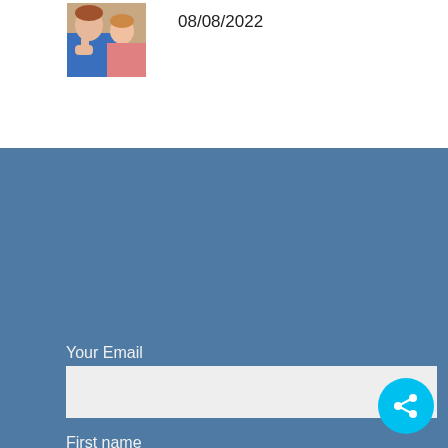[Figure (photo): Thumbnail photo of an adult and a child, the adult wearing blue, appearing to study or read together]
08/08/2022
Your Email
First name
Last name